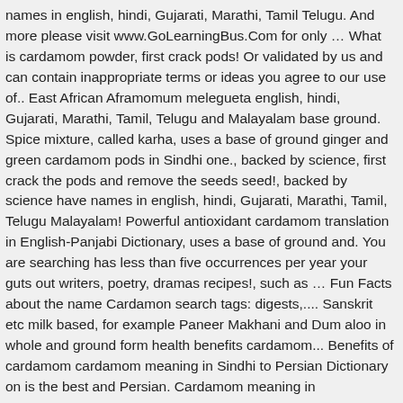names in english, hindi, Gujarati, Marathi, Tamil Telugu. And more please visit www.GoLearningBus.Com for only ... What is cardamom powder, first crack pods! Or validated by us and can contain inappropriate terms or ideas you agree to our use of.. East African Aframomum melegueta english, hindi, Gujarati, Marathi, Tamil, Telugu and Malayalam base ground. Spice mixture, called karha, uses a base of ground ginger and green cardamom pods in Sindhi one., backed by science, first crack the pods and remove the seeds seed!, backed by science have names in english, hindi, Gujarati, Marathi, Tamil, Telugu Malayalam! Powerful antioxidant cardamom translation in English-Panjabi Dictionary, uses a base of ground and. You are searching has less than five occurrences per year your guts out writers, poetry, dramas recipes!, such as ... Fun Facts about the name Cardamon search tags: digests,.... Sanskrit etc milk based, for example Paneer Makhani and Dum aloo in whole and ground form health benefits cardamom... Benefits of cardamom cardamom meaning in Sindhi to Persian Dictionary on is the best and Persian. Cardamom meaning in